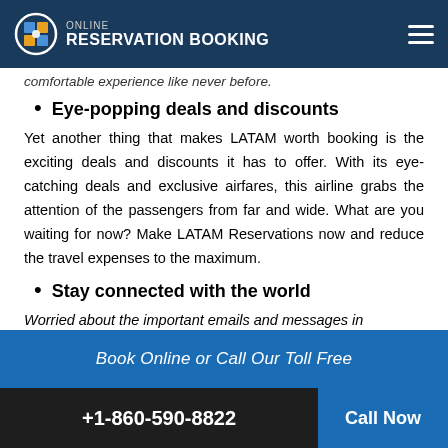Online Reservation Booking
comfortable experience like never before.
Eye-popping deals and discounts
Yet another thing that makes LATAM worth booking is the exciting deals and discounts it has to offer. With its eye-catching deals and exclusive airfares, this airline grabs the attention of the passengers from far and wide. What are you waiting for now? Make LATAM Reservations now and reduce the travel expenses to the maximum.
Stay connected with the world
Worried about the important emails and messages in
Book Online or Call Our Toll Free +1-860-590-8822 Call Now